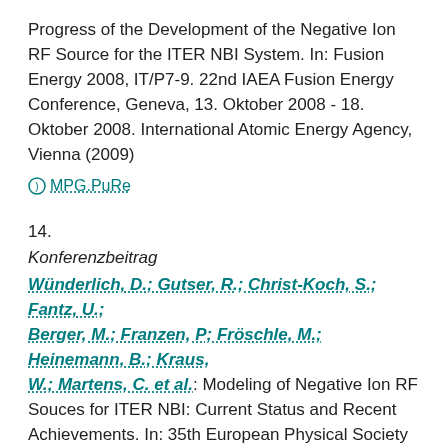Progress of the Development of the Negative Ion RF Source for the ITER NBI System. In: Fusion Energy 2008, IT/P7-9. 22nd IAEA Fusion Energy Conference, Geneva, 13. Oktober 2008 - 18. Oktober 2008. International Atomic Energy Agency, Vienna (2009)
⊙ MPG.PuRe
14.
Konferenzbeitrag
Wünderlich, D.; Gutser, R.; Christ-Koch, S.; Fantz, U.; Berger, M.; Franzen, P; Fröschle, M.; Heinemann, B.; Kraus, W.; Martens, C. et al.: Modeling of Negative Ion RF Souces for ITER NBI: Current Status and Recent Achievements. In: 35th European Physical Society Conference on Plasma Physics and 10th International Workshop on Fast Ignition of Fusion Targets. Contributed Papers, P-2.102 (Hg. Lalousis, P.; Moustaizis, S.). 35th EPS Conference on